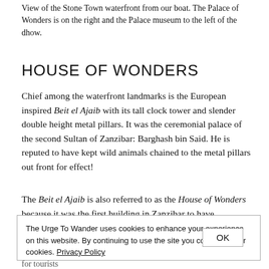View of the Stone Town waterfront from our boat. The Palace of Wonders is on the right and the Palace museum to the left of the dhow.
HOUSE OF WONDERS
Chief among the waterfront landmarks is the European inspired Beit el Ajaib with its tall clock tower and slender double height metal pillars. It was the ceremonial palace of the second Sultan of Zanzibar: Barghash bin Said. He is reputed to have kept wild animals chained to the metal pillars out front for effect!
The Beit el Ajaib is also referred to as the House of Wonders because it was the first building in Zanzibar to have
The Urge To Wander uses cookies to enhance your experience on this website. By continuing to use the site you consent to our cookies. Privacy Policy
for tourists